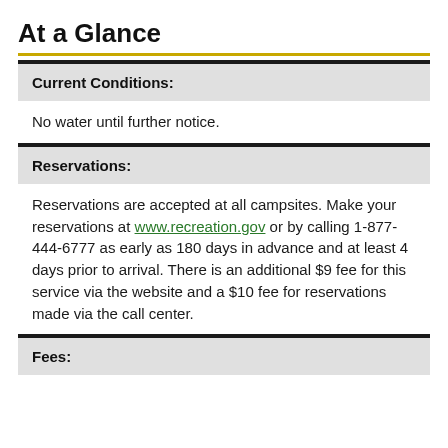At a Glance
Current Conditions:
No water until further notice.
Reservations:
Reservations are accepted at all campsites. Make your reservations at www.recreation.gov or by calling 1-877-444-6777 as early as 180 days in advance and at least 4 days prior to arrival. There is an additional $9 fee for this service via the website and a $10 fee for reservations made via the call center.
Fees: